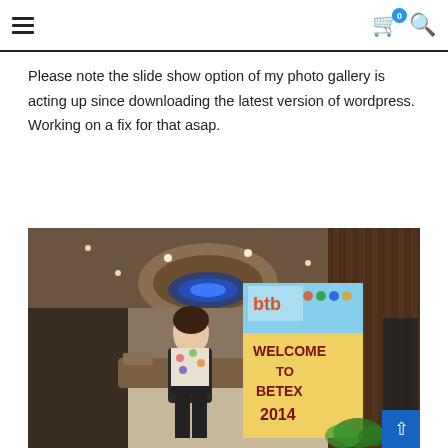Navigation header with hamburger menu, cart icon (badge: 0), and search icon
Please note the slide show option of my photo gallery is acting up since downloading the latest version of wordpress. Working on a fix for that asap.
[Figure (photo): Photo of a woman standing in what appears to be a hotel lobby next to a BETEX 2014 welcome banner (btb logo). The banner reads 'WELCOME TO BETEX 2014'. The lobby has decorative ceiling lighting and warm interior décor.]